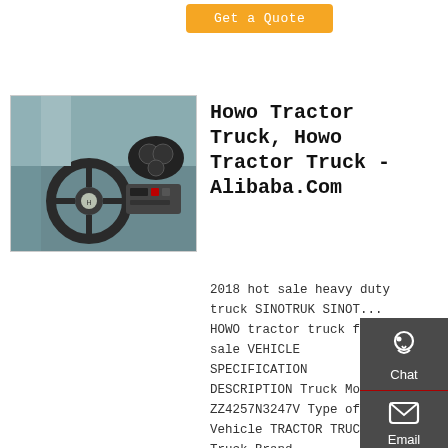Get a Quote
[Figure (photo): Interior cab photo of a Howo tractor truck showing steering wheel and dashboard]
Howo Tractor Truck, Howo Tractor Truck - Alibaba.Com
2018 hot sale heavy duty truck SINOTRUK SINOTRUCK HOWO tractor truck for sale VEHICLE SPECIFICATION DESCRIPTION Truck Model ZZ4257N3247V Type of Vehicle TRACTOR TRUCK Truck Brand